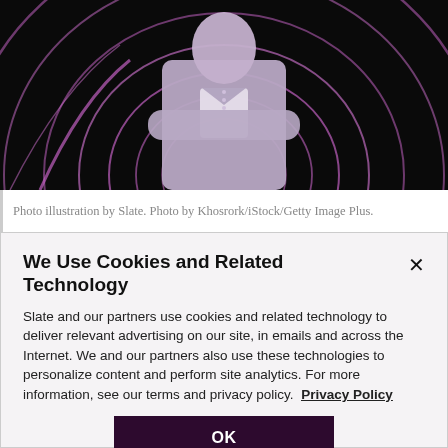[Figure (photo): Photo of a man with arms crossed wearing a denim jacket, against a black background with concentric pink/purple neon circles radiating outward.]
Photo illustration by Slate. Photo by Khosrork/iStock/Getty Image Plus.
We Use Cookies and Related Technology
Slate and our partners use cookies and related technology to deliver relevant advertising on our site, in emails and across the Internet. We and our partners also use these technologies to personalize content and perform site analytics. For more information, see our terms and privacy policy.  Privacy Policy
OK